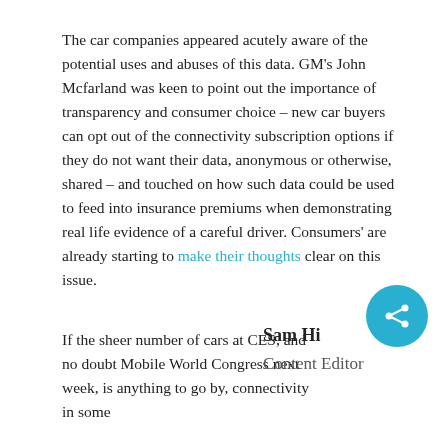The car companies appeared acutely aware of the potential uses and abuses of this data. GM's John Mcfarland was keen to point out the importance of transparency and consumer choice – new car buyers can opt out of the connectivity subscription options if they do not want their data, anonymous or otherwise, shared – and touched on how such data could be used to feed into insurance premiums when demonstrating real life evidence of a careful driver. Consumers' are already starting to make their thoughts clear on this issue.
If the sheer number of cars at CES, and no doubt Mobile World Congress next week, is anything to go by, connectivity in some
Sam Hill
Content Editor